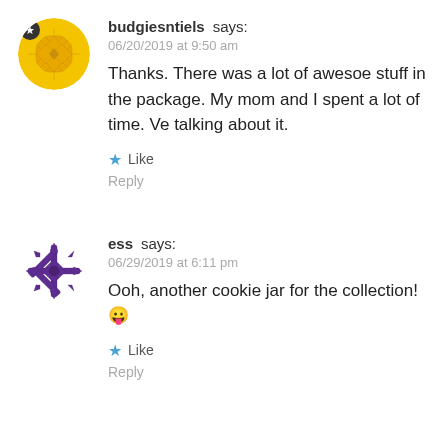[Figure (illustration): Round avatar with yellow/gold geometric snowflake-like pattern on yellow background with a star badge]
budgiesntiels says:
06/20/2019 at 9:50 am
Thanks. There was a lot of awesoe stuff in the package. My mom and I spent a lot of time. Ve talking about it.
Like
Reply
[Figure (illustration): Round avatar with purple snowflake/geometric pattern on white background]
ess says:
06/29/2019 at 6:11 pm
Ooh, another cookie jar for the collection! 😛
Like
Reply